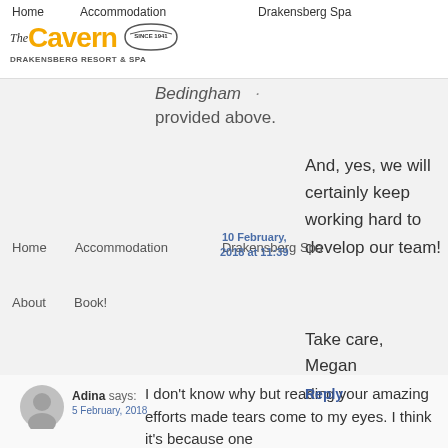The Cavern – Drakensberg Resort & Spa | Navigation: Home | Accommodation | Drakensberg Spa
Bedingham ... provided above. And, yes, we will certainly keep working hard to develop our team! Take care, Megan
10 February, 2018 at 11:39
Reply
Adina says:
5 February, 2018
I don't know why but reading your amazing efforts made tears come to my eyes. I think it's because one